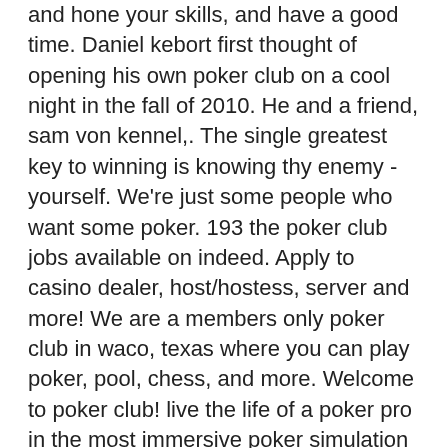and hone your skills, and have a good time. Daniel kebort first thought of opening his own poker club on a cool night in the fall of 2010. He and a friend, sam von kennel,. The single greatest key to winning is knowing thy enemy - yourself. We're just some people who want some poker. 193 the poker club jobs available on indeed. Apply to casino dealer, host/hostess, server and more! We are a members only poker club in waco, texas where you can play poker, pool, chess, and more. Welcome to poker club! live the life of a poker pro in the most immersive poker simulation ever seen, with ultra hd 4k visuals and breath-taking ray tracing. Prime social texas poker room. Houston poker 7801 westheimer rd. A glimpse inside the new 101 poker club in houston, texas. Come discover the winning feeling of all your favourite casino side bets at club at t...